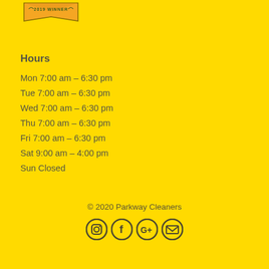[Figure (logo): 2019 Winner badge/ribbon at top of page]
Hours
Mon 7:00 am – 6:30 pm
Tue 7:00 am – 6:30 pm
Wed 7:00 am – 6:30 pm
Thu 7:00 am – 6:30 pm
Fri 7:00 am – 6:30 pm
Sat 9:00 am – 4:00 pm
Sun Closed
© 2020 Parkway Cleaners
[Figure (illustration): Social media icons: Instagram, Facebook, Google+, Email]